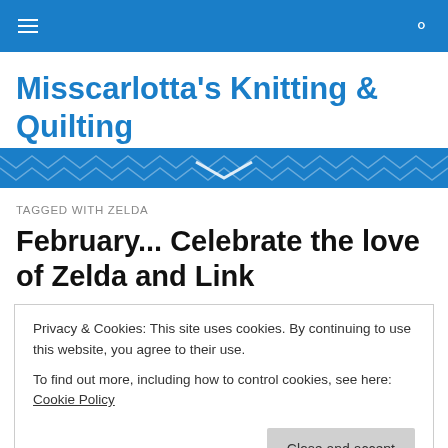Misscarlotta's Knitting & Quilting — navigation bar
Misscarlotta's Knitting & Quilting
TAGGED WITH ZELDA
February... Celebrate the love of Zelda and Link
Privacy & Cookies: This site uses cookies. By continuing to use this website, you agree to their use.
To find out more, including how to control cookies, see here: Cookie Policy
Close and accept